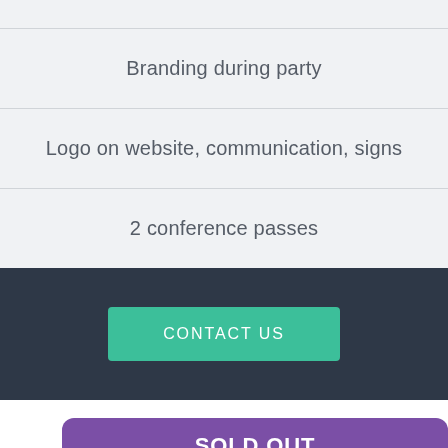Branding during party
Logo on website, communication, signs
2 conference passes
CONTACT US
SOLD OUT
LOUNGE